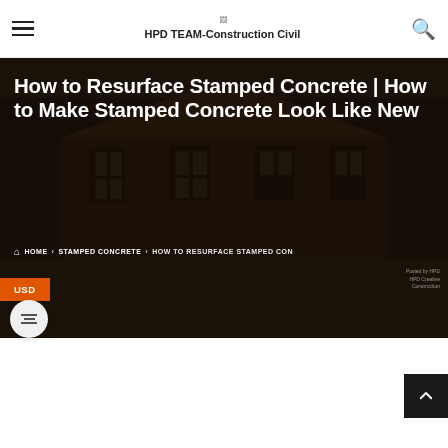HPD TEAM-Construction Civil
How to Resurface Stamped Concrete | How to Make Stamped Concrete Look Like New
HOME > STAMPED CONCRETE > HOW TO RESURFACE STAMPED CON...
USD
[Figure (screenshot): Hero background image showing a house exterior with stamped concrete driveway, dark overlay applied]